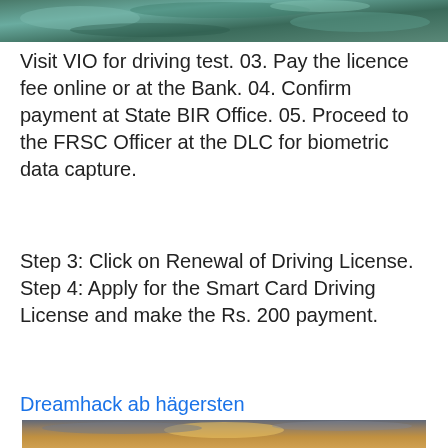[Figure (photo): Top portion of an image showing a blue-green sky or water surface]
Visit VIO for driving test. 03. Pay the licence fee online or at the Bank. 04. Confirm payment at State BIR Office. 05. Proceed to the FRSC Officer at the DLC for biometric data capture.
Step 3: Click on Renewal of Driving License. Step 4: Apply for the Smart Card Driving License and make the Rs. 200 payment.
Dreamhack ab hägersten
[Figure (photo): Landscape photo showing a dramatic sunset with golden light breaking through clouds over hills/mountains]